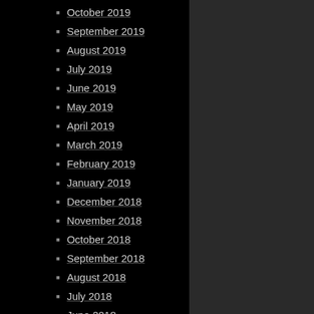October 2019
September 2019
August 2019
July 2019
June 2019
May 2019
April 2019
March 2019
February 2019
January 2019
December 2018
November 2018
October 2018
September 2018
August 2018
July 2018
June 2018
May 2018
April 2018